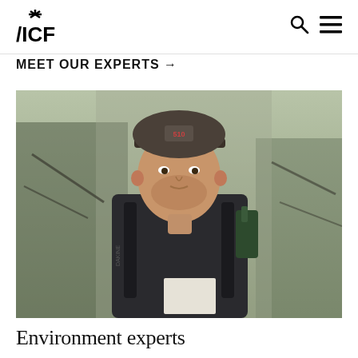ICF logo with search and menu icons
MEET OUR EXPERTS →
[Figure (photo): A man wearing a trucker cap with '510' logo and a Dakine backpack, holding papers, standing outdoors with trees in the background. He appears to be a field expert or consultant.]
Environment experts